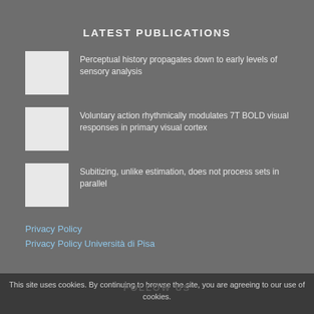LATEST PUBLICATIONS
Perceptual history propagates down to early levels of sensory analysis
Voluntary action rhythmically modulates 7T BOLD visual responses in primary visual cortex
Subitizing, unlike estimation, does not process sets in parallel
Privacy Policy
Privacy Policy Università di Pisa
This site uses cookies. By continuing to browse the site, you are agreeing to our use of cookies.